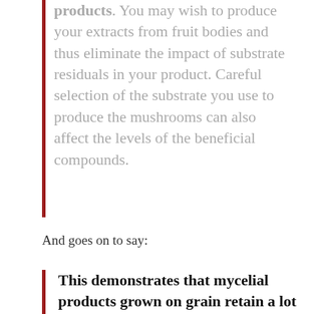products. You may wish to produce your extracts from fruit bodies and thus eliminate the impact of substrate residuals in your product. Careful selection of the substrate you use to produce the mushrooms can also affect the levels of the beneficial compounds.
And goes on to say:
This demonstrates that mycelial products grown on grain retain a lot of the starch from the grain. The bottom line is that if you want a product high in β-Glucans,